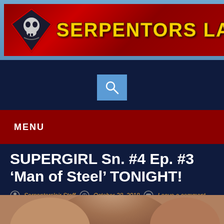[Figure (logo): Serpentors Lair website banner with diamond skull logo and yellow bold text 'SERPENTORS LA' on red background with blue border]
[Figure (screenshot): Search icon button (magnifying glass) in a blue square box]
MENU
SUPERGIRL Sn. #4 Ep. #3 ‘Man of Steel’ TONIGHT!
Serpentorslair Staff  October 28, 2018  Leave a comment
[Figure (photo): Bottom strip showing top of a person's head with brown hair]